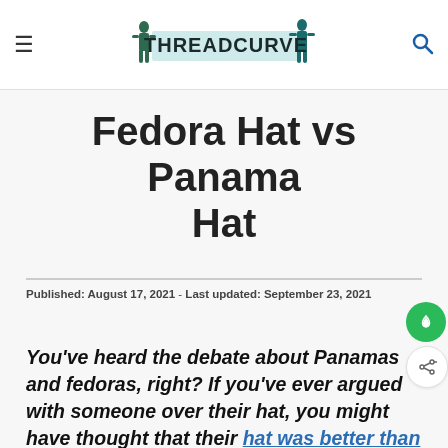THREADCURVE (logo/navigation header)
Fedora Hat vs Panama Hat
Published: August 17, 2021 - Last updated: September 23, 2021
You've heard the debate about Panamas and fedoras, right? If you've ever argued with someone over their hat, you might have thought that their hat was better than